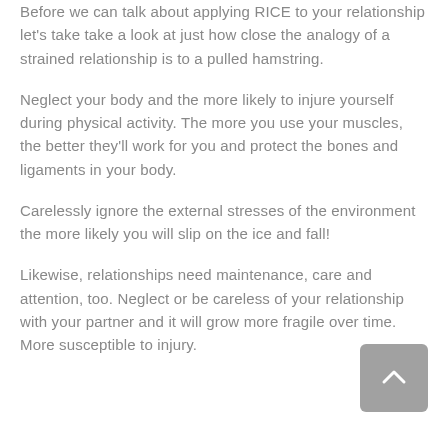Before we can talk about applying RICE to your relationship let's take take a look at just how close the analogy of a strained relationship is to a pulled hamstring.
Neglect your body and the more likely to injure yourself during physical activity. The more you use your muscles, the better they'll work for you and protect the bones and ligaments in your body.
Carelessly ignore the external stresses of the environment the more likely you will slip on the ice and fall!
Likewise, relationships need maintenance, care and attention, too. Neglect or be careless of your relationship with your partner and it will grow more fragile over time. More susceptible to injury.